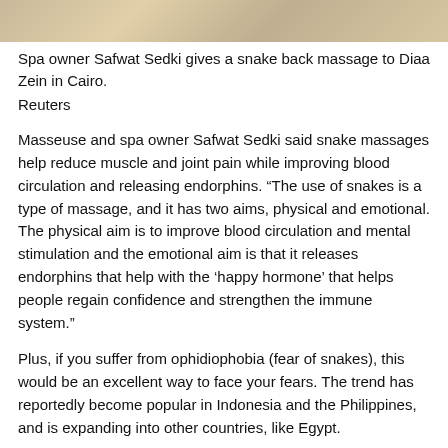[Figure (photo): Cropped bottom portion of a photo showing a snake back massage being performed in Cairo.]
Spa owner Safwat Sedki gives a snake back massage to Diaa Zein in Cairo.
Reuters
Masseuse and spa owner Safwat Sedki said snake massages help reduce muscle and joint pain while improving blood circulation and releasing endorphins. “The use of snakes is a type of massage, and it has two aims, physical and emotional. The physical aim is to improve blood circulation and mental stimulation and the emotional aim is that it releases endorphins that help with the ‘happy hormone’ that helps people regain confidence and strengthen the immune system.”
Plus, if you suffer from ophidiophobia (fear of snakes), this would be an excellent way to face your fears. The trend has reportedly become popular in Indonesia and the Philippines, and is expanding into other countries, like Egypt.